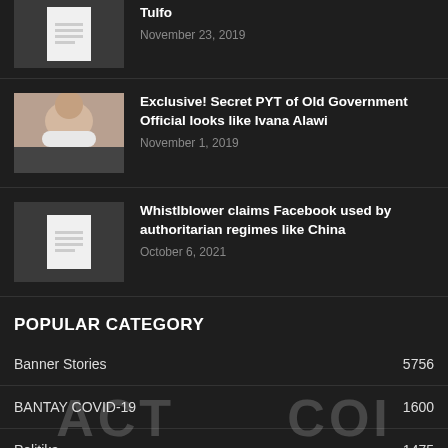[Figure (photo): Partial article thumbnail showing document icon placeholder]
Tulfo
November 23, 2019
[Figure (photo): Photo of person in white bikini top]
Exclusive! Secret PYT of Old Government Official looks like Ivana Alawi
November 1, 2019
[Figure (photo): Document icon placeholder thumbnail]
Whistlblower claims Facebook used by authoritarian regimes like China
October 6, 2021
POPULAR CATEGORY
Banner Stories 5756
BANTAY COVID-19 1600
Politika 1475
Features 706